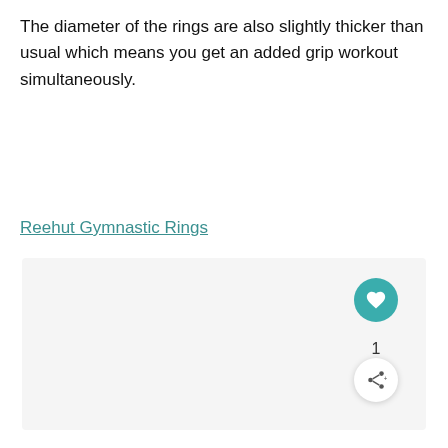The diameter of the rings are also slightly thicker than usual which means you get an added grip workout simultaneously.
Reehut Gymnastic Rings
[Figure (photo): Large light gray rectangular placeholder image area]